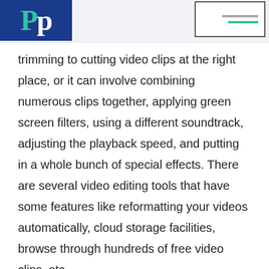[Figure (logo): Blue square logo with stylized letters P and P in teal and white]
[Figure (other): Menu icon with gray and teal horizontal lines inside a bordered rectangle]
trimming to cutting video clips at the right place, or it can involve combining numerous clips together, applying green screen filters, using a different soundtrack, adjusting the playback speed, and putting in a whole bunch of special effects. There are several video editing tools that have some features like reformatting your videos automatically, cloud storage facilities, browse through hundreds of free video clips, etc.